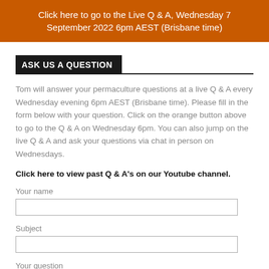Click here to go to the Live Q & A, Wednesday 7 September 2022 6pm AEST (Brisbane time)
ASK US A QUESTION
Tom will answer your permaculture questions at a live Q & A every Wednesday evening 6pm AEST (Brisbane time). Please fill in the form below with your question. Click on the orange button above to go to the Q & A on Wednesday 6pm. You can also jump on the live Q & A and ask your questions via chat in person on Wednesdays.
Click here to view past Q & A's on our Youtube channel.
Your name
Subject
Your question